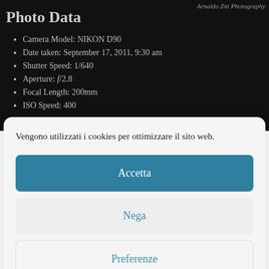Arnaldo Ziti Photography
Photo Data
Camera Model: NIKON D90
Date taken: September 17, 2011, 9:30 am
Shutter Speed: 1/640
Aperture: f/2.8
Focal Length: 200mm
ISO Speed: 400
Vengono utilizzati i cookies per ottimizzare il sito web.
Accetta
Nega
Preferenze
Cookie Policy   Privacy Policy